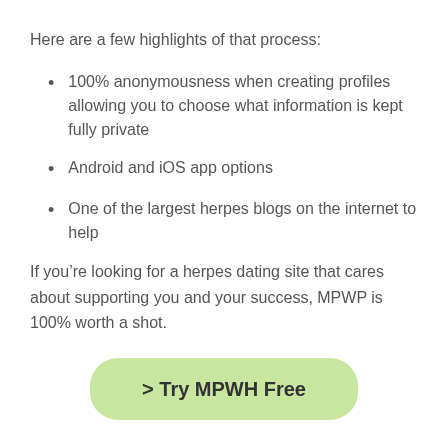Here are a few highlights of that process:
100% anonymousness when creating profiles allowing you to choose what information is kept fully private
Android and iOS app options
One of the largest herpes blogs on the internet to help
If you’re looking for a herpes dating site that cares about supporting you and your success, MPWP is 100% worth a shot.
> Try MPWH Free